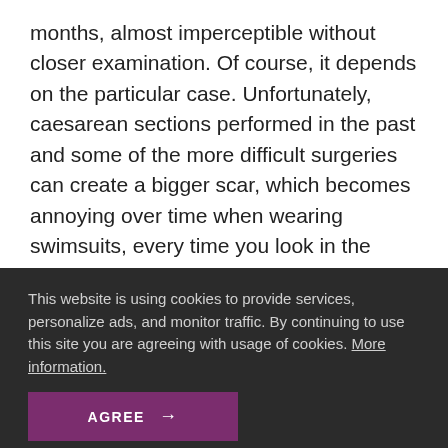months, almost imperceptible without closer examination. Of course, it depends on the particular case. Unfortunately, caesarean sections performed in the past and some of the more difficult surgeries can create a bigger scar, which becomes annoying over time when wearing swimsuits, every time you look in the mirror, or even during intimate moments with your partner. It
This website is using cookies to provide services, personalize ads, and monitor traffic. By continuing to use this site you are agreeing with usage of cookies. More information.
AGREE →